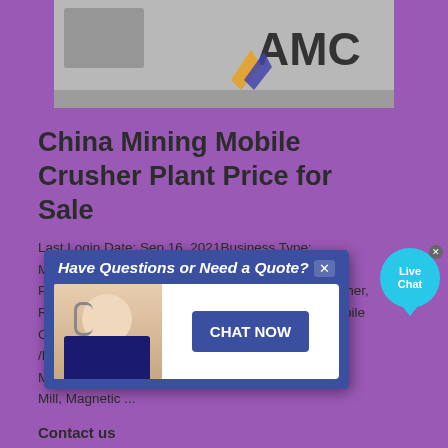[Figure (photo): Top image showing construction/mining equipment with AMC logo on purple background]
China Mining Mobile Crusher Plant Price for Sale
Last Login Date: Sep 16, 2021 Business Type: Manufacturer/Factory, Trading Company Main Products: Impact Crusher/Jaw Crusher / Cone Crusher, Rock Crusher/Stone Crusher/Hammer Crusher, Mobile Crusher/Mobile Jaw Crusher /Mobile Cone Crusher /Mobile Impact Crusher, Ball Mill/Raymond Mill/Hammer Mill, Vetical Mill/Cement Plant /Cement Mill, Magnetic ...
Contact us
[Figure (screenshot): Popup dialog: Have Questions or Need a Quote? with a customer service representative photo and CHAT NOW button, plus Live Chat bubble in top right corner]